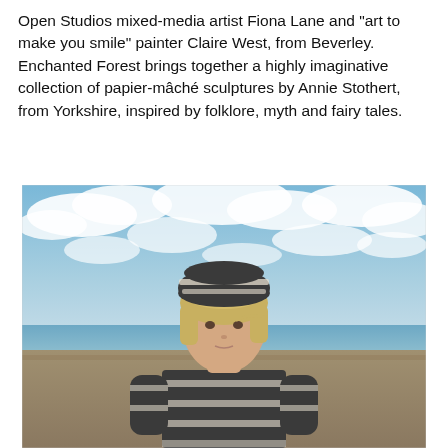Open Studios mixed-media artist Fiona Lane and "art to make you smile" painter Claire West, from Beverley. Enchanted Forest brings together a highly imaginative collection of papier-mâché sculptures by Annie Stothert, from Yorkshire, inspired by folklore, myth and fairy tales.
[Figure (photo): A young woman with short blonde hair wearing a dark grey and cream striped knit beanie hat and matching striped sweater, standing on a pebble beach with the sea and a blue sky filled with white clouds behind her.]